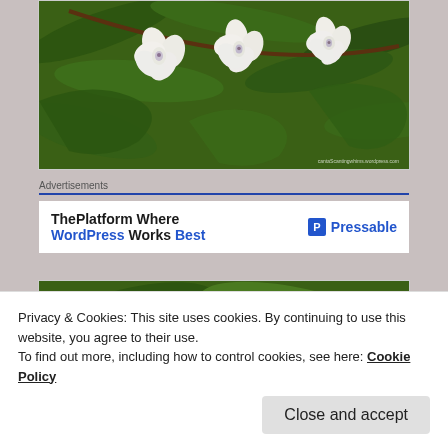[Figure (photo): Close-up photo of white orchid flowers with purple centers on green branches, with a watermark reading 'cantascantingwhere.wordpress.com']
Advertisements
[Figure (other): Advertisement banner: 'ThePlatform Where WordPress Works Best' with Pressable logo on the right]
[Figure (photo): Partial photo of green leaves and a light-colored flower, partially visible]
Privacy & Cookies: This site uses cookies. By continuing to use this website, you agree to their use.
To find out more, including how to control cookies, see here: Cookie Policy
Close and accept